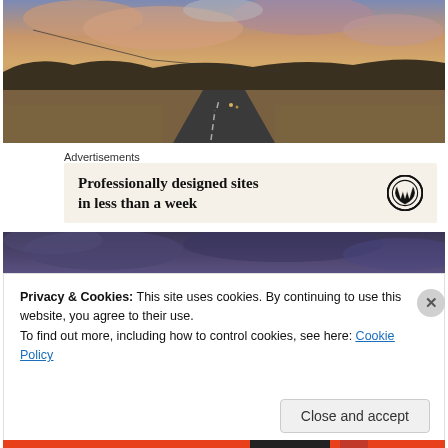[Figure (photo): Wide road stretching into the distance through arid desert landscape under a dramatic sunset sky with orange and purple clouds]
Advertisements
[Figure (screenshot): WordPress advertisement: 'Professionally designed sites in less than a week' with WordPress logo]
[Figure (photo): Dark stormy purple sky, partially visible landscape below]
Privacy & Cookies: This site uses cookies. By continuing to use this website, you agree to their use.
To find out more, including how to control cookies, see here: Cookie Policy
Close and accept